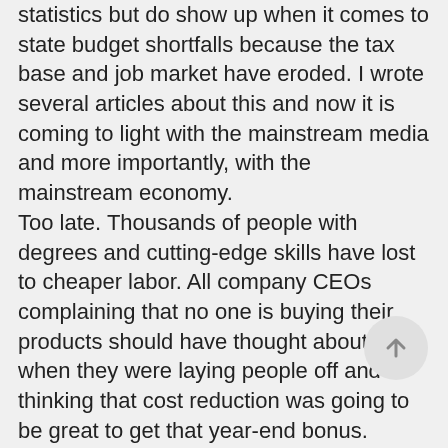statistics but do show up when it comes to state budget shortfalls because the tax base and job market have eroded. I wrote several articles about this and now it is coming to light with the mainstream media and more importantly, with the mainstream economy. Too late. Thousands of people with degrees and cutting-edge skills have lost to cheaper labor. All company CEOs complaining that no one is buying their products should have thought about this when they were laying people off and thinking that cost reduction was going to be great to get that year-end bonus. Where are those executives now? Retired with golden parachutes? Still working? Are the best and the brightest workers currently in all the corporations? I would say that there is a lot of talent sitting on